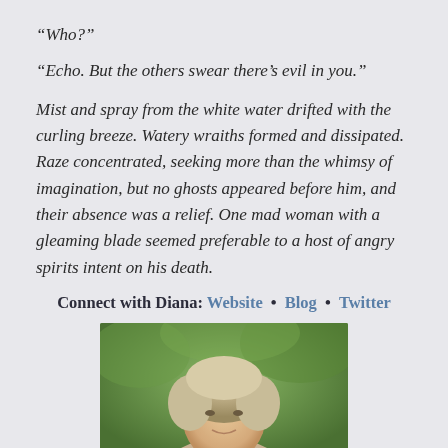“Who?”
“Echo. But the others swear there’s evil in you.”
Mist and spray from the white water drifted with the curling breeze. Watery wraiths formed and dissipated. Raze concentrated, seeking more than the whimsy of imagination, but no ghosts appeared before him, and their absence was a relief. One mad woman with a gleaming blade seemed preferable to a host of angry spirits intent on his death.
Connect with Diana: Website • Blog • Twitter
[Figure (photo): Portrait photo of a woman with light hair against a green outdoor background]